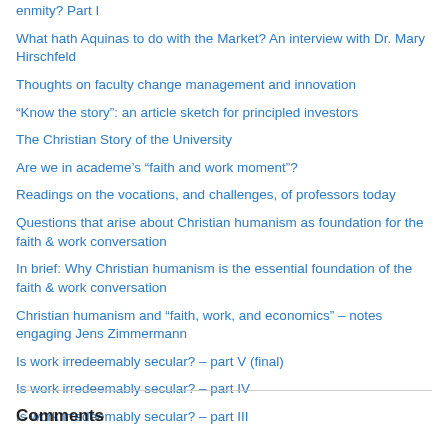enmity? Part I
What hath Aquinas to do with the Market? An interview with Dr. Mary Hirschfeld
Thoughts on faculty change management and innovation
“Know the story”: an article sketch for principled investors
The Christian Story of the University
Are we in academe’s “faith and work moment”?
Readings on the vocations, and challenges, of professors today
Questions that arise about Christian humanism as foundation for the faith & work conversation
In brief: Why Christian humanism is the essential foundation of the faith & work conversation
Christian humanism and “faith, work, and economics” – notes engaging Jens Zimmermann
Is work irredeemably secular? – part V (final)
Is work irredeemably secular? – part IV
Is work irredeemably secular? – part III
Comments